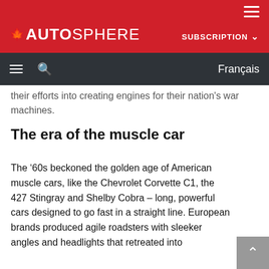AUTOSPHERE — SUBSCRIPTION — Français
their efforts into creating engines for their nation's war machines.
The era of the muscle car
The '60s beckoned the golden age of American muscle cars, like the Chevrolet Corvette C1, the 427 Stingray and Shelby Cobra – long, powerful cars designed to go fast in a straight line. European brands produced agile roadsters with sleeker angles and headlights that retreated into